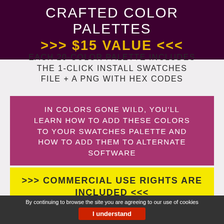CRAFTED COLOR PALETTES >>> $15 VALUE <<<
EACH 20-COLOR PALETTE INCLUDES THE 1-CLICK INSTALL SWATCHES FILE + A PNG WITH HEX CODES
IN COLORS GONE WILD, YOU'LL LEARN HOW TO ADD THESE COLORS TO YOUR SWATCHES PALETTE AND HOW TO ADD THEM TO ALTERNATE SOFTWARE
>>> COMMERCIAL USE RIGHTS ARE INCLUDED <<<
By continuing to browse the site you are agreeing to our use of cookies
I understand